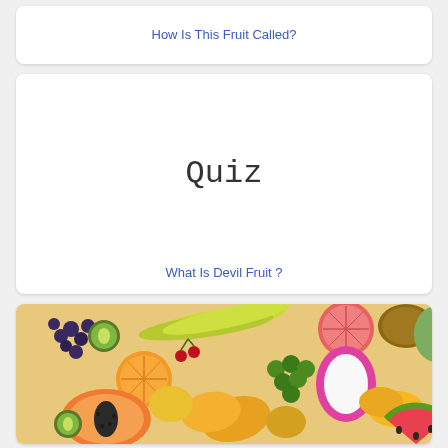How Is This Fruit Called?
[Figure (other): Quiz card with handwritten-style 'Quiz' text centered on white background]
What Is Devil Fruit ?
[Figure (photo): A colorful assortment of tropical and common fruits including bananas, grapefruit, grapes, dragon fruit, watermelon, papaya, oranges, kiwi, blueberries, and more arranged together]